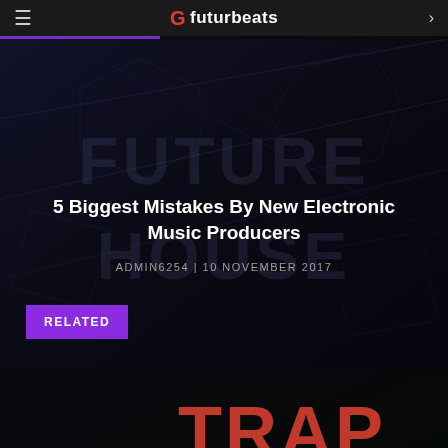futurbeats
[Figure (screenshot): Featured article card with dark background showing FUTURE HOUSE text. Article title: 5 Biggest Mistakes By New Electronic Music Producers. Byline: ADMIN6254 | 10 NOVEMBER 2017]
5 Biggest Mistakes By New Electronic Music Producers
ADMIN6254 | 10 NOVEMBER 2017
RELATED
[Figure (screenshot): Related article card with dark background showing TRAP text in red and a DJ silhouette with green dot pattern. Article title: What Is Trap Music?]
What Is Trap Music?
ADMIN6254 | 10 NOVEMBER 2017